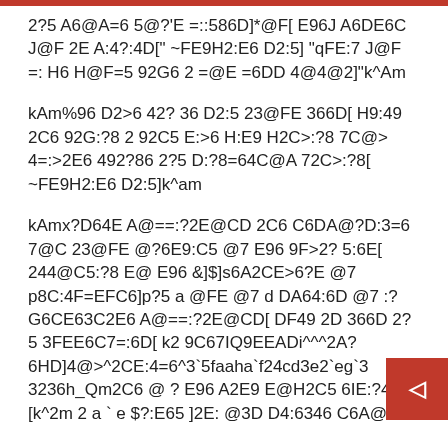2?5 A6@A=6 5@?'E =::586D]*@F[ E96J A6DE6C J@F 2E A:4?:4D[" ~FE9H2:E6 D2:5] "qFE:7 J@F =: H6 H@F=5 92G6 2 =@E =6DD 4@4@2]"k^Am
kAm%96 D2>6 42? 36 D2:5 23@FE 366D[ H9:49 2C6 92G:?8 2 92C5 E:>6 H:E9 H2C>:?8 7C@> 4=:>2E6 492?86 2?5 D:?8=64C@A 72C>:?8[ ~FE9H2:E6 D2:5]k^am
kAmx?D64E A@==:?2E@CD 2C6 C6DA@?D:3=6 7@C 23@FE @?6E9:C5 @7 E96 9F>2? 5:6E[ 244@C5:?8 E@ E96 &]$]s6A2CE>6?E @7 p8C:4F=EFC6]p?5 a @FE @7 d DA64:6D @7 :? G6CE63C2E6 A@==:?2E@CD[ DF49 2D 366D 2?5 3FEE6C7=:6D[ k2 9C67IQ9EEADi^^^2A? 6HD]4@>^2CE:4=6^3`5faaha`f24cd3e2`eg`3 3236h_Qm2C6 @ ? E96 A2E9 E@H2C5 6IE:?4I [k^2m 2 a ` e $?:E65 ]2E: @3D D4:6346 C6A@CE